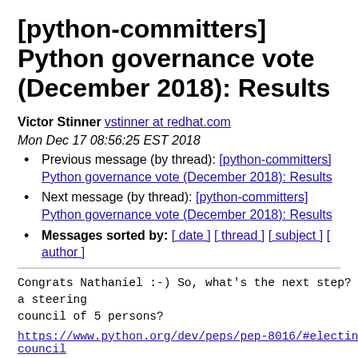[python-committers] Python governance vote (December 2018): Results
Victor Stinner vstinner at redhat.com
Mon Dec 17 08:56:25 EST 2018
Previous message (by thread): [python-committers] Python governance vote (December 2018): Results
Next message (by thread): [python-committers] Python governance vote (December 2018): Results
Messages sorted by: [ date ] [ thread ] [ subject ] [ author ]
Congrats Nathaniel :-) So, what's the next step? Create a steering
council of 5 persons?
https://www.python.org/dev/peps/pep-8016/#electing-the-council
Any timeline for that?